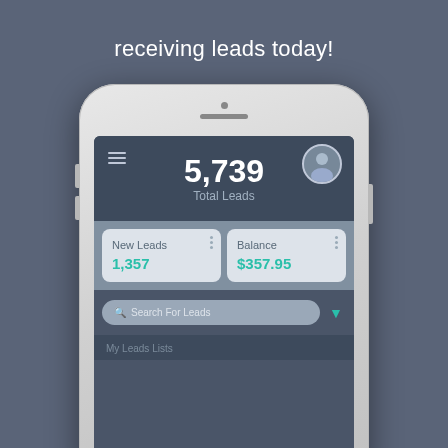receiving leads today!
[Figure (screenshot): Mobile app screenshot showing a leads management dashboard with total leads count of 5,739, new leads of 1,357, balance of $357.95, and a search bar for leads]